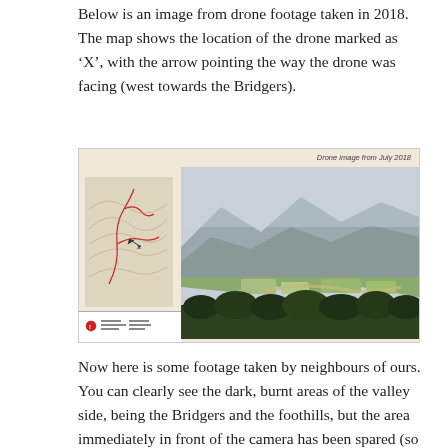Below is an image from drone footage taken in 2018. The map shows the location of the drone marked as 'X', with the arrow pointing the way the drone was facing (west towards the Bridgers).
[Figure (photo): Composite image: left side shows a topographic map with red markings and an X marker indicating drone location; right side shows an aerial drone photograph of a valley with mountains in the background, forests in the foreground, and fields in the middle. Caption in top-right reads 'Drone image from July 2018'.]
Now here is some footage taken by neighbours of ours. You can clearly see the dark, burnt areas of the valley side, being the Bridgers and the foothills, but the area immediately in front of the camera has been spared (so far) by the various landscape features mentioned acting as fire breaks.